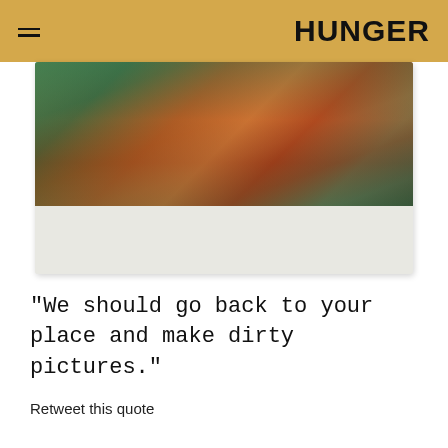HUNGER
[Figure (photo): A Polaroid photograph showing a close-up of a person's midsection wearing a bikini or swimwear, with outdoor background including trees and sky, vintage/analog photography style]
"We should go back to your place and make dirty pictures."
Retweet this quote